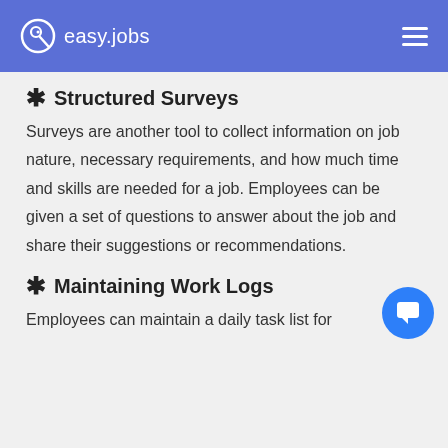easy.jobs
Structured Surveys
Surveys are another tool to collect information on job nature, necessary requirements, and how much time and skills are needed for a job. Employees can be given a set of questions to answer about the job and share their suggestions or recommendations.
Maintaining Work Logs
Employees can maintain a daily task list for